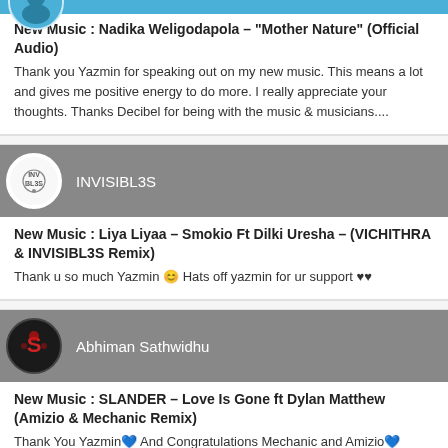New Music : Nadika Weligodapola – "Mother Nature" (Official Audio)
Thank you Yazmin for speaking out on my new music. This means a lot and gives me positive energy to do more. I really appreciate your thoughts. Thanks Decibel for being with the music & musicians....
INVISIBL3S
New Music : Liya Liyaa – Smokio Ft Dilki Uresha – (VICHITHRA & INVISIBL3S Remix)
Thank u so much Yazmin 😊 Hats off yazmin for ur support ♥♥
Abhiman Sathwidhu
New Music : SLANDER – Love Is Gone ft Dylan Matthew (Amizio & Mechanic Remix)
Thank You Yazmin💙 And Congratulations Mechanic and Amizio💙